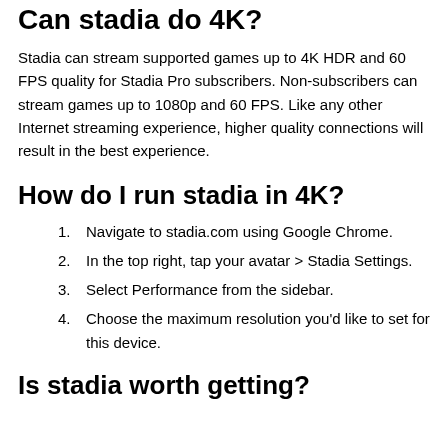Can stadia do 4K?
Stadia can stream supported games up to 4K HDR and 60 FPS quality for Stadia Pro subscribers. Non-subscribers can stream games up to 1080p and 60 FPS. Like any other Internet streaming experience, higher quality connections will result in the best experience.
How do I run stadia in 4K?
Navigate to stadia.com using Google Chrome.
In the top right, tap your avatar > Stadia Settings.
Select Performance from the sidebar.
Choose the maximum resolution you'd like to set for this device.
Is stadia worth getting?